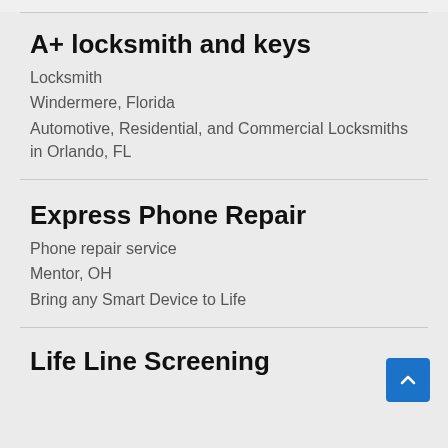A+ locksmith and keys
Locksmith
Windermere, Florida
Automotive, Residential, and Commercial Locksmiths in Orlando, FL
Express Phone Repair
Phone repair service
Mentor, OH
Bring any Smart Device to Life
Life Line Screening